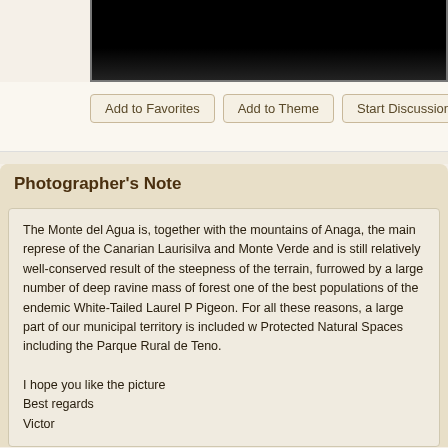[Figure (photo): Partial view of a dark/black photograph at top of page]
Add to Favorites | Add to Theme | Start Discussion | Po...
Photographer's Note
The Monte del Agua is, together with the mountains of Anaga, the main representative of the Canarian Laurisilva and Monte Verde and is still relatively well-conserved as a result of the steepness of the terrain, furrowed by a large number of deep ravines, mass of forest one of the best populations of the endemic White-Tailed Laurel P Pigeon. For all these reasons, a large part of our municipal territory is included w Protected Natural Spaces including the Parque Rural de Teno.

I hope you like the picture
Best regards
Victor
macondo heeft deze opmerking als nuttig gemarkeerd